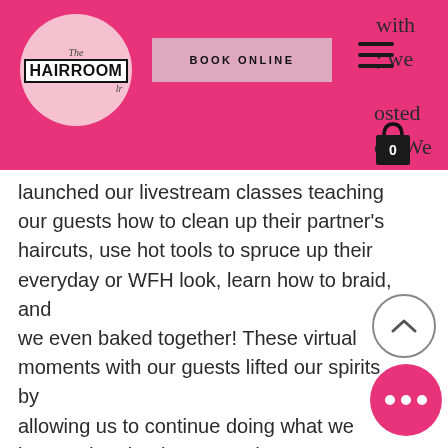[Figure (logo): The Hairroom logo: circular pink background with 'The Hairroom' text in a bordered box]
[Figure (screenshot): BOOK ONLINE button in pink/mauve rectangle]
[Figure (other): Hamburger menu icon (three horizontal lines)]
[Figure (other): Shopping bag icon with number 0]
launched our livestream classes teaching our guests how to clean up their partner's haircuts, use hot tools to spruce up their everyday or WFH look, learn how to braid, and we even baked together! These virtual moments with our guests lifted our spirits by allowing us to continue doing what we love to do. Thank you. We hope you enjoyed having us around.